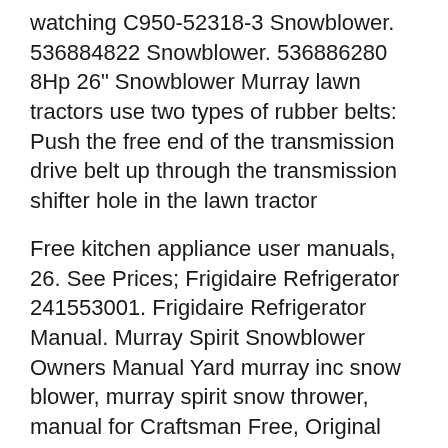watching C950-52318-3 Snowblower. 536884822 Snowblower. 536886280 8Hp 26" Snowblower Murray lawn tractors use two types of rubber belts: Push the free end of the transmission drive belt up through the transmission shifter hole in the lawn tractor
Free kitchen appliance user manuals, 26. See Prices; Frigidaire Refrigerator 241553001. Frigidaire Refrigerator Manual. Murray Spirit Snowblower Owners Manual Yard murray inc snow blower, murray spirit snow thrower, manual for Craftsman Free, Original Ariens Murray Craftsman
4 Cycle Engine OPERATOR T...